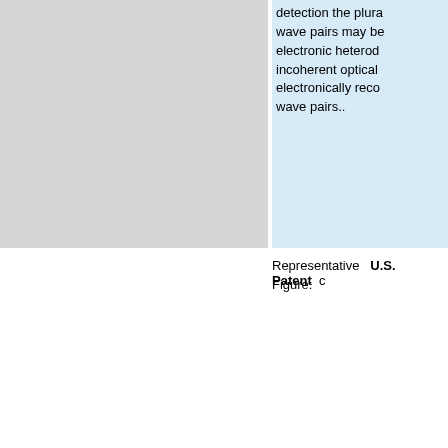detection the plurality of wave pairs may be detected by electronic heterodyne, incoherent optical, or electronically recorded wave pairs..
Representative Figure:
U.S. Patent
[Figure (engineering-diagram): Patent engineering diagram showing FIG.1 with components labeled 22, LR1, 24, COLL L. and a beam splitter arrangement]
[Figure (engineering-diagram): Patent engineering diagram showing an optical system with MODULATING SIGNAL INPUT, INJECTION LOCKED LASER DIODE (52, 54), LASER DIODE, component 50, 48, TRAVELING ACOUSTIC MODULATOR (TWA), 64, fs, 42, 68]